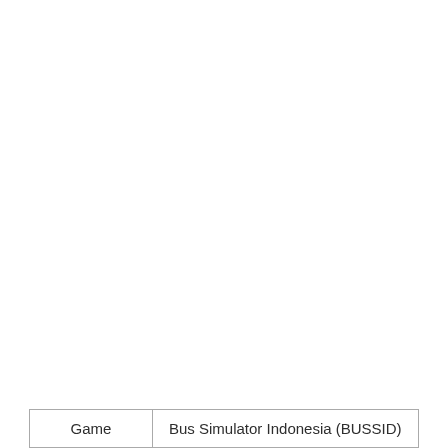[Figure (other): Dark mode toggle button with a white circle on the left and a crescent moon icon on the right, on a dark navy/charcoal rounded pill background]
| Game | Bus Simulator Indonesia (BUSSID) |